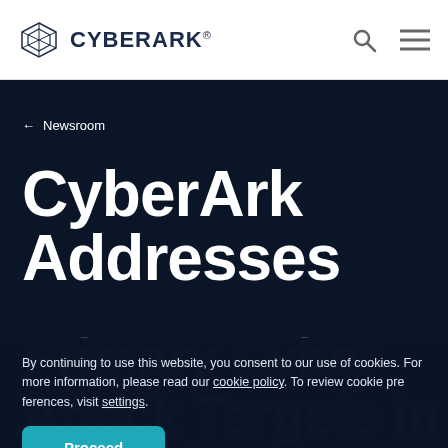CyberArk
← Newsroom
CyberArk Addresses Primary Cyber Attack Targets in Critical
By continuing to use this website, you consent to our use of cookies. For more information, please read our cookie policy. To review cookie preferences, visit settings.
Proceed